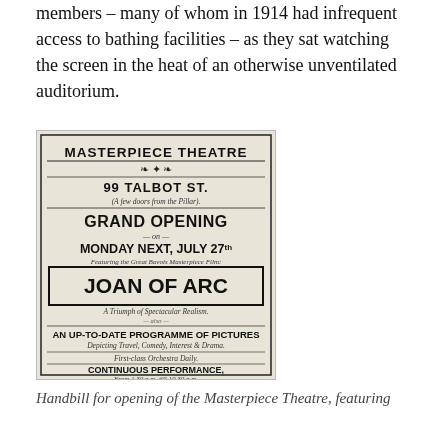members – many of whom in 1914 had infrequent access to bathing facilities – as they sat watching the screen in the heat of an otherwise unventilated auditorium.
[Figure (photo): Handbill for Masterpiece Theatre at 99 Talbot St. advertising Grand Opening on Monday Next, July 27th, featuring Joan of Arc film. An up-to-date programme of pictures depicting Travel, Comedy, Interest & Drama. First-class Orchestra Daily. Continuous Performance from 1.30 p.m. till 10.30 p.m. Admission 6d.]
Handbill for opening of the Masterpiece Theatre, featuring